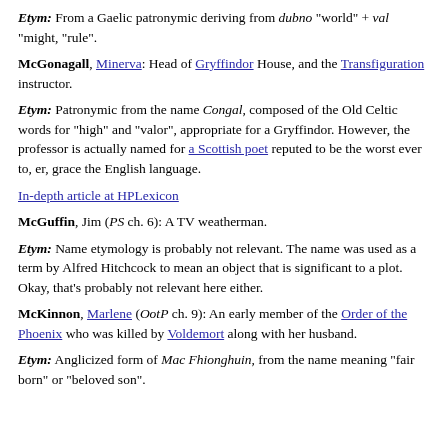Etym: From a Gaelic patronymic deriving from dubno "world" + val "might, "rule".
McGonagall, Minerva: Head of Gryffindor House, and the Transfiguration instructor.
Etym: Patronymic from the name Congal, composed of the Old Celtic words for "high" and "valor", appropriate for a Gryffindor. However, the professor is actually named for a Scottish poet reputed to be the worst ever to, er, grace the English language.
In-depth article at HPLexicon
McGuffin, Jim (PS ch. 6): A TV weatherman.
Etym: Name etymology is probably not relevant. The name was used as a term by Alfred Hitchcock to mean an object that is significant to a plot. Okay, that's probably not relevant here either.
McKinnon, Marlene (OotP ch. 9): An early member of the Order of the Phoenix who was killed by Voldemort along with her husband.
Etym: Anglicized form of Mac Fhionghuin, from the name meaning "fair born" or "beloved son".